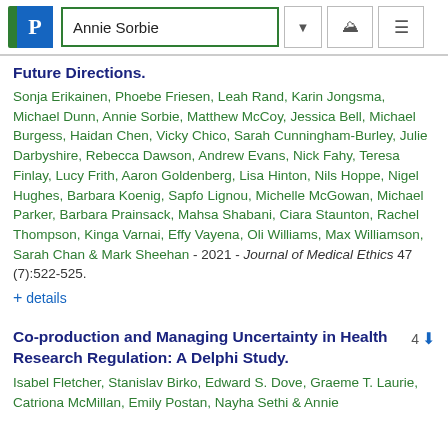Annie Sorbie
Future Directions.
Sonja Erikainen, Phoebe Friesen, Leah Rand, Karin Jongsma, Michael Dunn, Annie Sorbie, Matthew McCoy, Jessica Bell, Michael Burgess, Haidan Chen, Vicky Chico, Sarah Cunningham-Burley, Julie Darbyshire, Rebecca Dawson, Andrew Evans, Nick Fahy, Teresa Finlay, Lucy Frith, Aaron Goldenberg, Lisa Hinton, Nils Hoppe, Nigel Hughes, Barbara Koenig, Sapfo Lignou, Michelle McGowan, Michael Parker, Barbara Prainsack, Mahsa Shabani, Ciara Staunton, Rachel Thompson, Kinga Varnai, Effy Vayena, Oli Williams, Max Williamson, Sarah Chan & Mark Sheehan - 2021 - Journal of Medical Ethics 47 (7):522-525.
+ details
Co-production and Managing Uncertainty in Health Research Regulation: A Delphi Study.
Isabel Fletcher, Stanislav Birko, Edward S. Dove, Graeme T. Laurie, Catriona McMillan, Emily Postan, Nayha Sethi & Annie